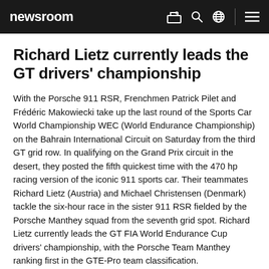newsroom
Richard Lietz currently leads the GT drivers' championship
With the Porsche 911 RSR, Frenchmen Patrick Pilet and Frédéric Makowiecki take up the last round of the Sports Car World Championship WEC (World Endurance Championship) on the Bahrain International Circuit on Saturday from the third GT grid row. In qualifying on the Grand Prix circuit in the desert, they posted the fifth quickest time with the 470 hp racing version of the iconic 911 sports car. Their teammates Richard Lietz (Austria) and Michael Christensen (Denmark) tackle the six-hour race in the sister 911 RSR fielded by the Porsche Manthey squad from the seventh grid spot. Richard Lietz currently leads the GT FIA World Endurance Cup drivers' championship, with the Porsche Team Manthey ranking first in the GTE-Pro team classification.
The eighth and final round will start on Saturday at 15:00 hrs local